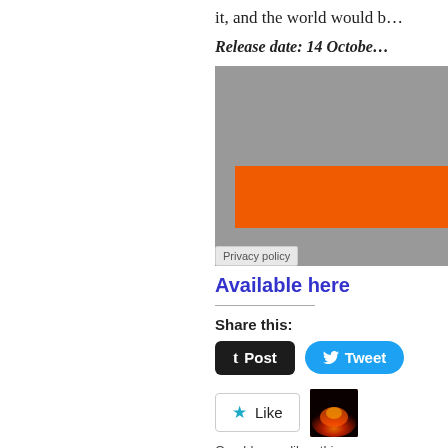it, and the world would b…
Release date:  14 Octobe…
[Figure (screenshot): A grey image block with an orange banner/bar in the middle, and a 'Privacy policy' label at the bottom left corner.]
Available here
Share this:
Post  Tweet
[Figure (other): Like button with star icon, and a small blog thumbnail image showing a fiery/dark scene.]
One blogger likes this.